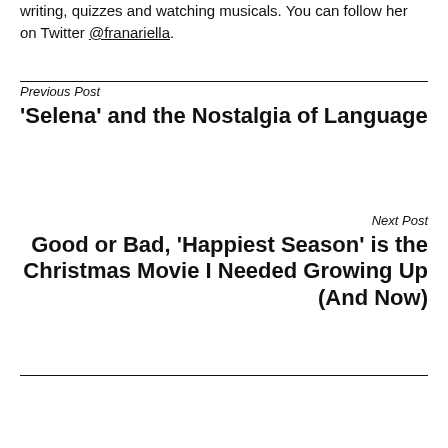writing, quizzes and watching musicals. You can follow her on Twitter @franariella.
Previous Post
'Selena' and the Nostalgia of Language
Next Post
Good or Bad, 'Happiest Season' is the Christmas Movie I Needed Growing Up (And Now)